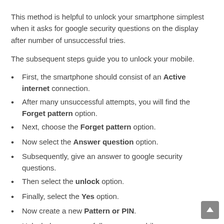This method is helpful to unlock your smartphone simplest when it asks for google security questions on the display after number of unsuccessful tries.
The subsequent steps guide you to unlock your mobile.
First, the smartphone should consist of an Active internet connection.
After many unsuccessful attempts, you will find the Forget pattern option.
Next, choose the Forget pattern option.
Now select the Answer question option.
Subsequently, give an answer to google security questions.
Then select the unlock option.
Finally, select the Yes option.
Now create a new Pattern or PIN.
Unlock done successfully on your mobile.